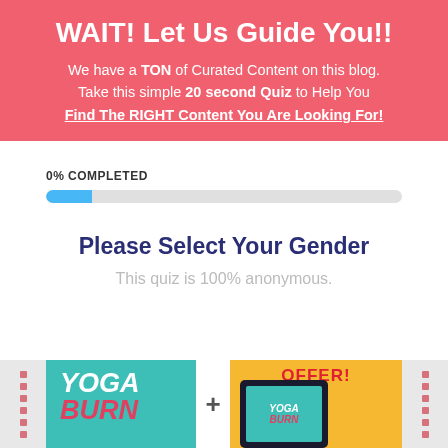WAIT! Let Us Guide You!!
We have a TON of Curated Content on this blog. Take this simple 20 second Quiz to Help You Find The RIGHT Content You Are Looking For!
0% COMPLETED
Please Select Your Gender
This quiz is 100% anonymous.
[Figure (photo): Yoga Burn book cover and tablet showing Yoga Burn content, with a plus sign between them and an 'OFFER!' banner]